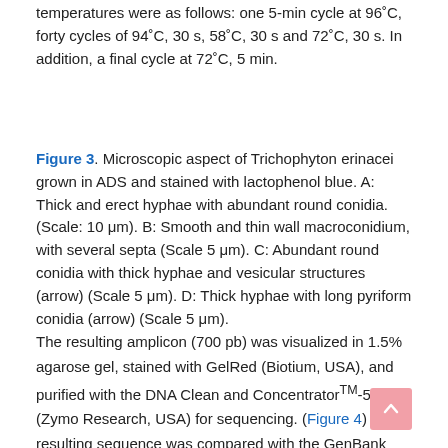temperatures were as follows: one 5-min cycle at 96°C, forty cycles of 94°C, 30 s, 58°C, 30 s and 72°C, 30 s. In addition, a final cycle at 72°C, 5 min.
Figure 3. Microscopic aspect of Trichophyton erinacei grown in ADS and stained with lactophenol blue. A: Thick and erect hyphae with abundant round conidia. (Scale: 10 μm). B: Smooth and thin wall macroconidium, with several septa (Scale 5 μm). C: Abundant round conidia with thick hyphae and vesicular structures (arrow) (Scale 5 μm). D: Thick hyphae with long pyriform conidia (arrow) (Scale 5 μm).
The resulting amplicon (700 pb) was visualized in 1.5% agarose gel, stained with GelRed (Biotium, USA), and purified with the DNA Clean and Concentrator™-5 kit (Zymo Research, USA) for sequencing. (Figure 4) The resulting sequence was compared with the GenBank (https://www.ncbi.nlm.nih.gov; August 13, 2018).